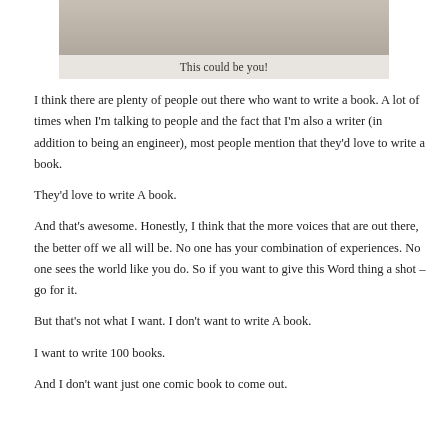[Figure (photo): A cropped photo of a person, with a caption bar reading 'This could be you!']
This could be you!
I think there are plenty of people out there who want to write a book. A lot of times when I’m talking to people and the fact that I'm also a writer (in addition to being an engineer), most people mention that they’d love to write a book.
They’d love to write A book.
And that’s awesome. Honestly, I think that the more voices that are out there, the better off we all will be. No one has your combination of experiences. No one sees the world like you do. So if you want to give this Word thing a shot – go for it.
But that’s not what I want. I don’t want to write A book.
I want to write 100 books.
And I don’t want just one comic book to come out.